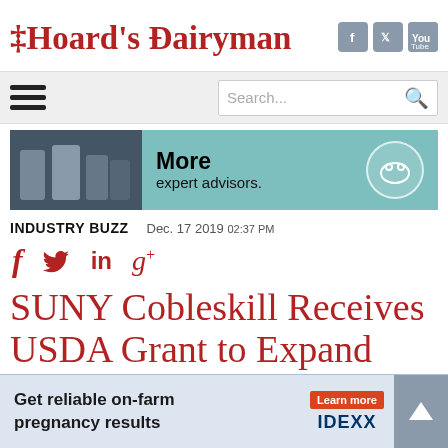Hoard's Dairyman
[Figure (infographic): Navigation bar with hamburger menu icon and search box]
[Figure (infographic): Advertisement banner: More expert advisors. with photo of people and cow icon]
INDUSTRY BUZZ    Dec. 17 2019 02:37 PM
[Figure (infographic): Social share icons: Facebook f, Twitter bird, LinkedIn in, Google+]
SUNY Cobleskill Receives USDA Grant to Expand Development of Farm-
[Figure (infographic): Advertisement banner: Get reliable on-farm pregnancy results. Learn more. IDEXX logo with up arrow button.]